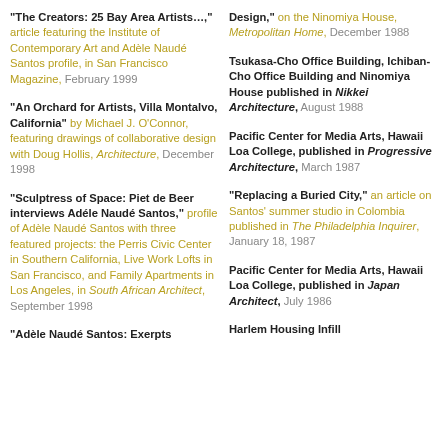"The Creators: 25 Bay Area Artists…," article featuring the Institute of Contemporary Art and Adèle Naudé Santos profile, in San Francisco Magazine, February 1999
"An Orchard for Artists, Villa Montalvo, California" by Michael J. O'Connor, featuring drawings of collaborative design with Doug Hollis, Architecture, December 1998
"Sculptress of Space: Piet de Beer interviews Adéle Naudé Santos," profile of Adèle Naudé Santos with three featured projects: the Perris Civic Center in Southern California, Live Work Lofts in San Francisco, and Family Apartments in Los Angeles, in South African Architect, September 1998
"Adèle Naudé Santos: Exerpts
Design," on the Ninomiya House, Metropolitan Home, December 1988
Tsukasa-Cho Office Building, Ichiban-Cho Office Building and Ninomiya House published in Nikkei Architecture, August 1988
Pacific Center for Media Arts, Hawaii Loa College, published in Progressive Architecture, March 1987
"Replacing a Buried City," an article on Santos' summer studio in Colombia published in The Philadelphia Inquirer, January 18, 1987
Pacific Center for Media Arts, Hawaii Loa College, published in Japan Architect, July 1986
Harlem Housing Infill